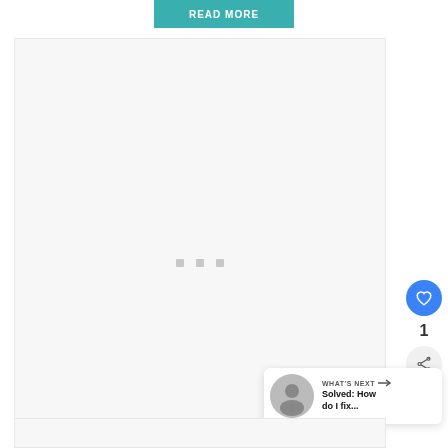READ MORE
[Figure (screenshot): Large light-gray placeholder content box with three small gray square loading dots centered in the middle]
[Figure (infographic): Social interaction buttons: blue heart/like button, count label '1', and gray share button]
[Figure (infographic): What's Next card with arrow, thumbnail image, header 'WHAT'S NEXT →', and subtitle text 'Solved: How do I fix...']
[Figure (screenshot): Bottom partial content box]